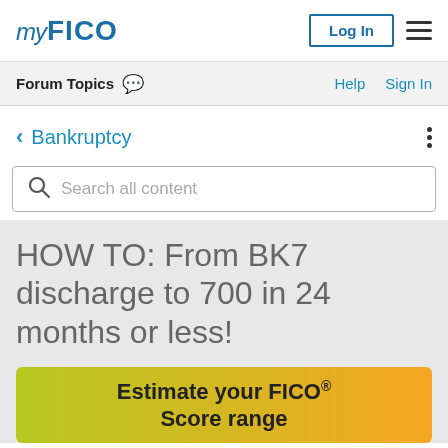myFICO | Log In | menu
Forum Topics | Help | Sign In
< Bankruptcy
Search all content
HOW TO: From BK7 discharge to 700 in 24 months or less!
[Figure (infographic): Promotional banner with yellow-green to orange gradient reading 'Estimate your FICO® Score range']